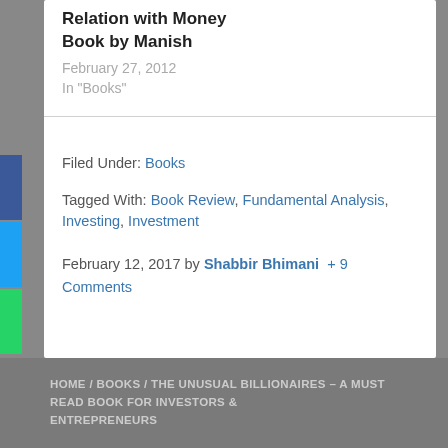Relation with Money Book by Manish
February 27, 2012
In "Books"
Filed Under: Books
Tagged With: Book Review, Fundamental Analysis, Investing, Investment
February 12, 2017 by Shabbir Bhimani + 9 Comments
HOME / BOOKS / THE UNUSUAL BILLIONAIRES – A MUST READ BOOK FOR INVESTORS & ENTREPRENEURS